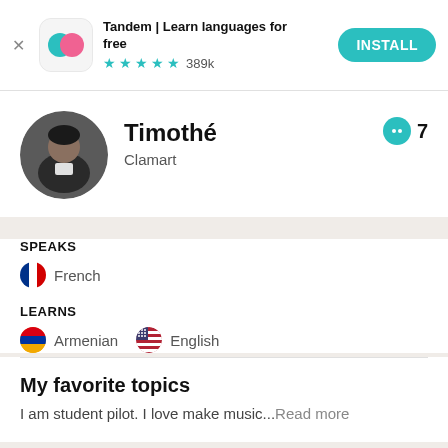[Figure (screenshot): Tandem app advertisement banner with app icon (teal and pink overlapping circles), install button, star rating and review count]
Timothé
Clamart
SPEAKS
French
LEARNS
Armenian   English
My favorite topics
I am student pilot. I love make music...Read more